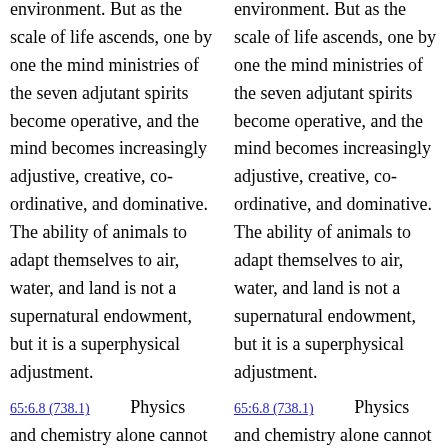environment. But as the scale of life ascends, one by one the mind ministries of the seven adjutant spirits become operative, and the mind becomes increasingly adjustive, creative, co-ordinative, and dominative. The ability of animals to adapt themselves to air, water, and land is not a supernatural endowment, but it is a superphysical adjustment.
65:6.8 (738.1)    Physics and chemistry alone cannot explain how a human being evolved out of the primeval protoplasm of the early seas. The ability to learn, memory and differential
environment. But as the scale of life ascends, one by one the mind ministries of the seven adjutant spirits become operative, and the mind becomes increasingly adjustive, creative, co-ordinative, and dominative. The ability of animals to adapt themselves to air, water, and land is not a supernatural endowment, but it is a superphysical adjustment.
65:6.8 (738.1)    Physics and chemistry alone cannot explain how a human being evolved out of the primeval protoplasm of the early seas. The ability to learn, memory and differential